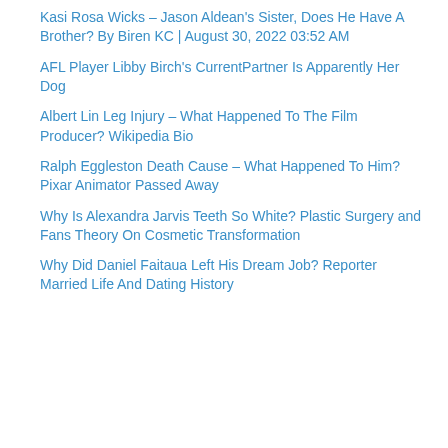Kasi Rosa Wicks – Jason Aldean's Sister, Does He Have A Brother? By Biren KC | August 30, 2022 03:52 AM
AFL Player Libby Birch's CurrentPartner Is Apparently Her Dog
Albert Lin Leg Injury – What Happened To The Film Producer? Wikipedia Bio
Ralph Eggleston Death Cause – What Happened To Him? Pixar Animator Passed Away
Why Is Alexandra Jarvis Teeth So White? Plastic Surgery and Fans Theory On Cosmetic Transformation
Why Did Daniel Faitaua Left His Dream Job? Reporter Married Life And Dating History